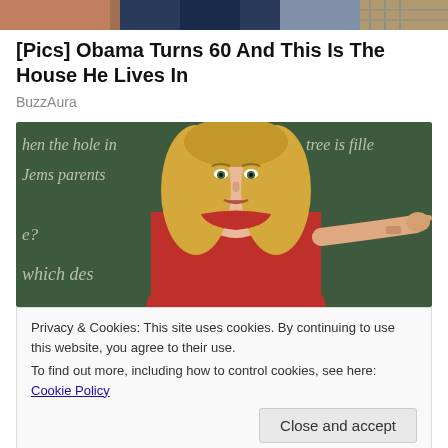[Figure (photo): Cropped top of a photo showing two people, partially visible at the top of the page]
[Pics] Obama Turns 60 And This Is The House He Lives In
BuzzAura
[Figure (photo): A blonde woman in a red turtleneck pointing her finger, standing in front of a chalkboard with partial text 'hen the hole in tree is fille', 'Jems parents', 'e?', 'which des']
Privacy & Cookies: This site uses cookies. By continuing to use this website, you agree to their use.
To find out more, including how to control cookies, see here: Cookie Policy
Close and accept
Questions